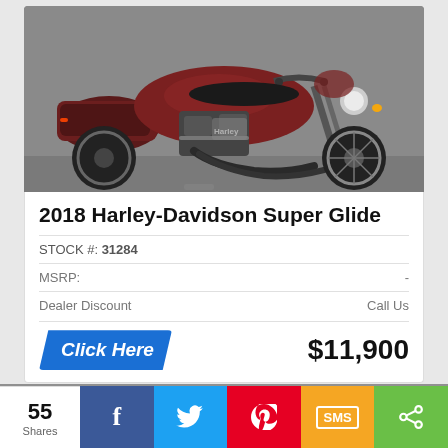[Figure (photo): 2018 Harley-Davidson Super Glide motorcycle in dark maroon/burgundy color, photographed from the left side in a showroom with grey background]
2018 Harley-Davidson Super Glide
STOCK #: 31284
MSRP: -
Dealer Discount   Call Us
Click Here   $11,900
[Figure (photo): Partial view of the Harley-Davidson motorcycle, showing handlebars detail against grey background]
55 Shares
Facebook share button
Twitter share button
Pinterest share button
SMS share button
Share button